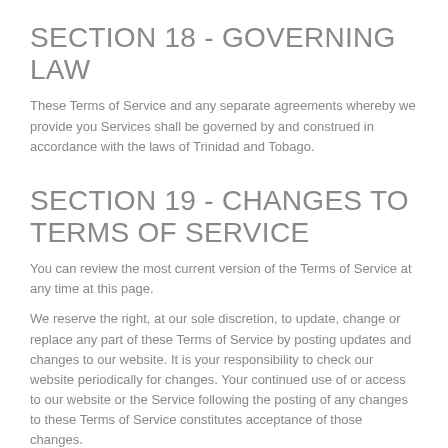SECTION 18 - GOVERNING LAW
These Terms of Service and any separate agreements whereby we provide you Services shall be governed by and construed in accordance with the laws of Trinidad and Tobago.
SECTION 19 - CHANGES TO TERMS OF SERVICE
You can review the most current version of the Terms of Service at any time at this page.
We reserve the right, at our sole discretion, to update, change or replace any part of these Terms of Service by posting updates and changes to our website. It is your responsibility to check our website periodically for changes. Your continued use of or access to our website or the Service following the posting of any changes to these Terms of Service constitutes acceptance of those changes.
SECTION 20 - CONTACT